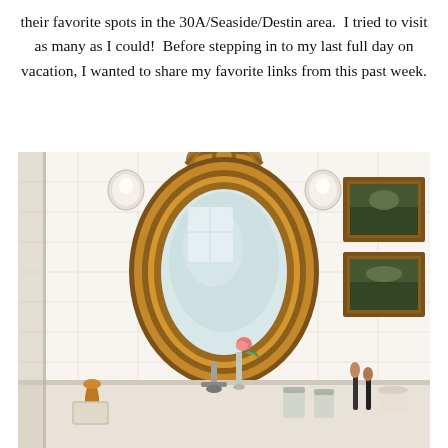their favorite spots in the 30A/Seaside/Destin area.  I tried to visit as many as I could!  Before stepping in to my last full day on vacation, I wanted to share my favorite links from this past week.
[Figure (photo): Interior bathroom photo featuring an ornate gold baroque oval mirror mounted on white subway tile wall, with wall sconce lights on either side, two framed oil paintings on the right wall, a chrome faucet, a glass vase with a pink rose, makeup brushes, glass jars, amber goblet, and a woven basket on a white marble countertop.]